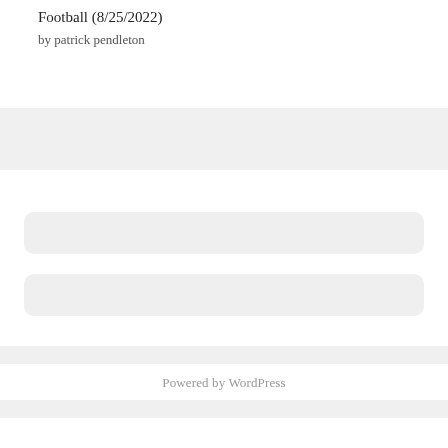Football (8/25/2022)
by patrick pendleton
Powered by WordPress